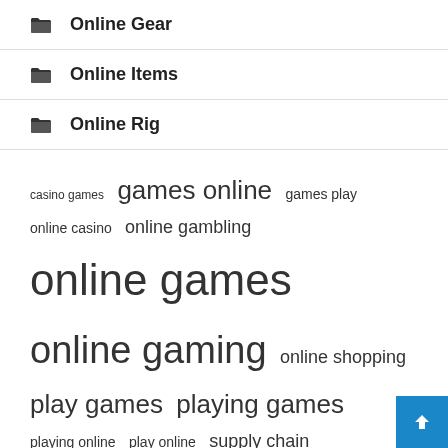Online Gear
Online Items
Online Rig
casino games  games online  games play  online casino  online gambling  online games  online gaming  online shopping  play games  playing games  playing online  play online  supply chain  united states  video games
Recent Posts